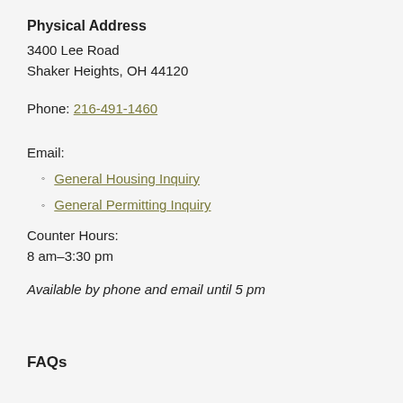Physical Address
3400 Lee Road
Shaker Heights, OH 44120
Phone: 216-491-1460
Email:
General Housing Inquiry
General Permitting Inquiry
Counter Hours:
8 am–3:30 pm
Available by phone and email until 5 pm
FAQs